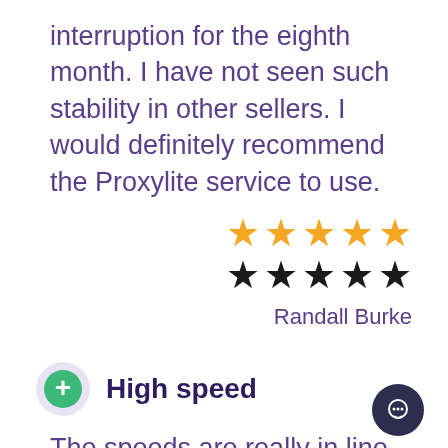interruption for the eighth month. I have not seen such stability in other sellers. I would definitely recommend the Proxylite service to use.
[Figure (infographic): Two rows of five stars each: top row gold stars, bottom row black stars, representing a 5-star rating display]
Randall Burke
High speed
The speeds are really in line with what is advertised. It comes out cheaper than the competition and higher in terms of speed. I guess I will continue using your platform if